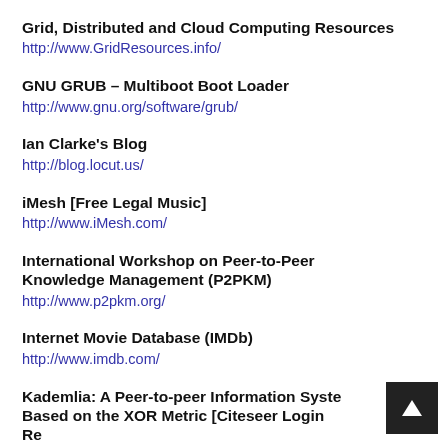Grid, Distributed and Cloud Computing Resources
http://www.GridResources.info/
GNU GRUB – Multiboot Boot Loader
http://www.gnu.org/software/grub/
Ian Clarke's Blog
http://blog.locut.us/
iMesh [Free Legal Music]
http://www.iMesh.com/
International Workshop on Peer-to-Peer Knowledge Management (P2PKM)
http://www.p2pkm.org/
Internet Movie Database (IMDb)
http://www.imdb.com/
Kademlia: A Peer-to-peer Information System Based on the XOR Metric [Citeseer Login Required]